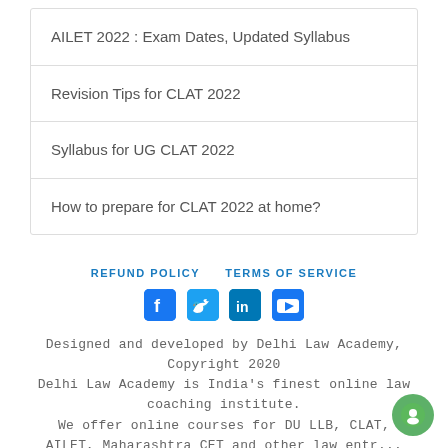AILET 2022 : Exam Dates, Updated Syllabus
Revision Tips for CLAT 2022
Syllabus for UG CLAT 2022
How to prepare for CLAT 2022 at home?
REFUND POLICY   TERMS OF SERVICE
[Figure (infographic): Social media icons: Facebook, Twitter, LinkedIn, YouTube]
Designed and developed by Delhi Law Academy, Copyright 2020
Delhi Law Academy is India's finest online law coaching institute.
We offer online courses for DU LLB, CLAT, AILET, Maharashtra CET and other law entrance...